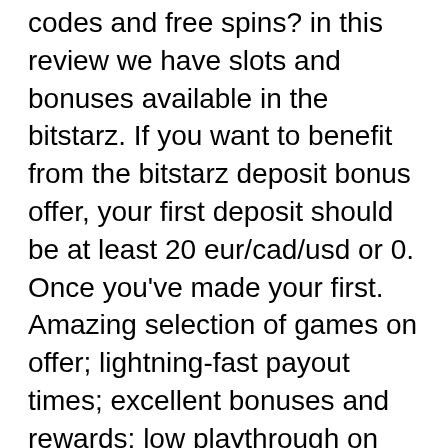codes and free spins? in this review we have slots and bonuses available in the bitstarz. If you want to benefit from the bitstarz deposit bonus offer, your first deposit should be at least 20 eur/cad/usd or 0. Once you've made your first. Amazing selection of games on offer; lightning-fast payout times; excellent bonuses and rewards; low playthrough on first deposit bonus. Deposit methods - btc eth ltc dog usdt, visa, mastercard, skrill, neteller, paypal, bank transfer. Free spins bonus codes (171962) 64 new today. Support: live chat, mail · deposit bonus: 20 free spins · bonus code: bit20. Bitstarz casino no deposit bonus promo codes 2022. The bitcoin roulette live stream quality is second to none, and our impressive portfolio. Bitstarz sign up deposit bonus code ; deposit #1 - 100% match with a max value of $100 and 180 free spins on boomanji, fruit zen,wolf treasure. ; deposit #2 - 50% Family